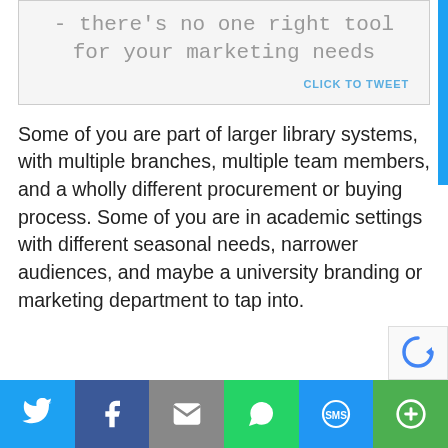- there's no one right tool for your marketing needs
CLICK TO TWEET
Some of you are part of larger library systems, with multiple branches, multiple team members, and a wholly different procurement or buying process. Some of you are in academic settings with different seasonal needs, narrower audiences, and maybe a university branding or marketing department to tap into.